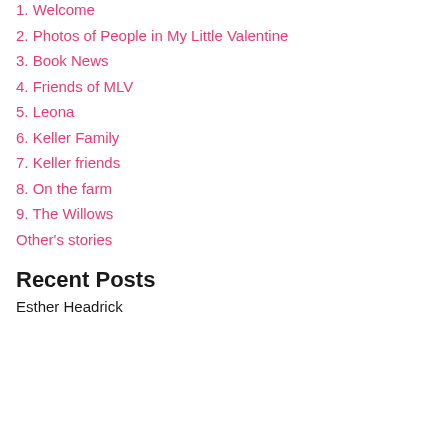1. Welcome
2. Photos of People in My Little Valentine
3. Book News
4. Friends of MLV
5. Leona
6. Keller Family
7. Keller friends
8. On the farm
9. The Willows
Other's stories
Recent Posts
Esther Headrick